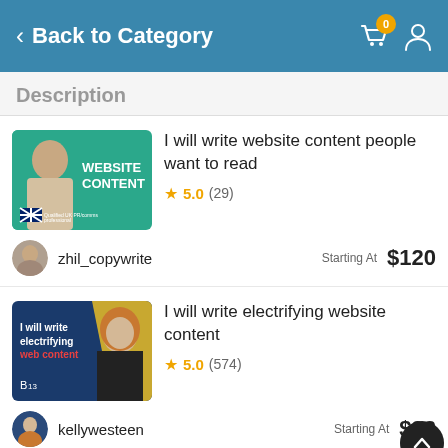Back to Category
Description
I will write website content people want to read
★ 5.0 (29)
zhil_copywrite   Starting At $120
I will write electrifying website content
★ 5.0 (574)
kellywesteen   Starting At $32
I will write an authentic about us page and team bios